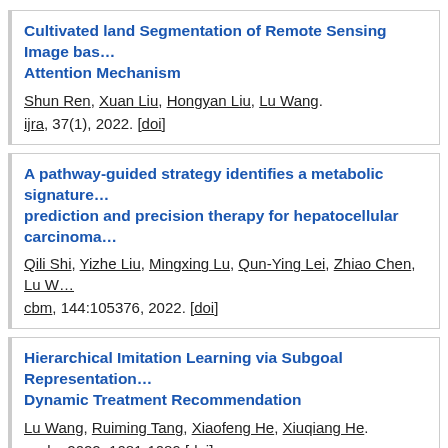Cultivated land Segmentation of Remote Sensing Image based on Attention Mechanism
Shun Ren, Xuan Liu, Hongyan Liu, Lu Wang. ijra, 37(1), 2022. [doi]
A pathway-guided strategy identifies a metabolic signature for prediction and precision therapy for hepatocellular carcinoma
Qili Shi, Yizhe Liu, Mingxing Lu, Qun-Ying Lei, Zhiao Chen, Lu W... cbm, 144:105376, 2022. [doi]
Hierarchical Imitation Learning via Subgoal Representation for Dynamic Treatment Recommendation
Lu Wang, Ruiming Tang, Xiaofeng He, Xiuqiang He. wsdm 2022: 1081-1089 [doi]
Sum Rate Maximization for Multi-IRS Assisted Downlink NOMA Users
Lu Wang, Ting Zhou, Tianheng Xu.